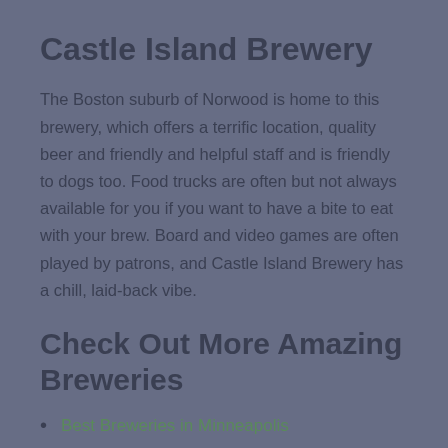Castle Island Brewery
The Boston suburb of Norwood is home to this brewery, which offers a terrific location, quality beer and friendly and helpful staff and is friendly to dogs too. Food trucks are often but not always available for you if you want to have a bite to eat with your brew. Board and video games are often played by patrons, and Castle Island Brewery has a chill, laid-back vibe.
Check Out More Amazing Breweries
Best Breweries in Minneapolis
Best Breweries in Cincinnati